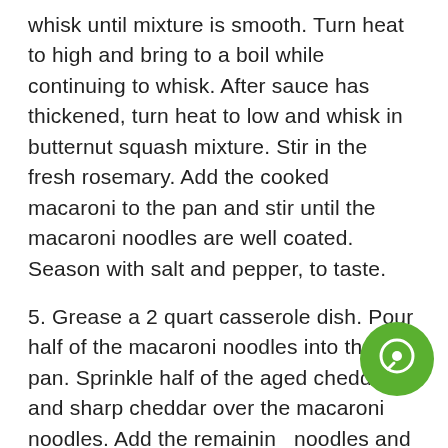whisk until mixture is smooth. Turn heat to high and bring to a boil while continuing to whisk. After sauce has thickened, turn heat to low and whisk in butternut squash mixture. Stir in the fresh rosemary. Add the cooked macaroni to the pan and stir until the macaroni noodles are well coated. Season with salt and pepper, to taste.
5. Grease a 2 quart casserole dish. Pour half of the macaroni noodles into the pan. Sprinkle half of the aged cheddar and sharp cheddar over the macaroni noodles. Add the remaining noodles and then top with the rest of the cheese.
[Figure (illustration): Green circular icon with a chat/message bubble symbol, overlapping the bottom-right area of the text]